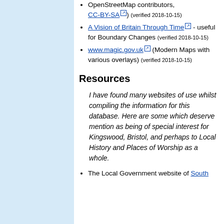OpenStreetMap contributors, CC-BY-SA (verified 2018-10-15)
A Vision of Britain Through Time - useful for Boundary Changes (verified 2018-10-15)
www.magic.gov.uk (Modern Maps with various overlays) (verified 2018-10-15)
Resources
I have found many websites of use whilst compiling the information for this database. Here are some which deserve mention as being of special interest for Kingswood, Bristol, and perhaps to Local History and Places of Worship as a whole.
The Local Government website of South